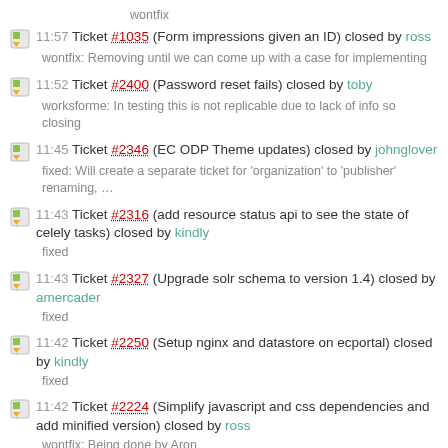wontfix
11:57 Ticket #1035 (Form impressions given an ID) closed by ross
wontfix: Removing until we can come up with a case for implementing
11:52 Ticket #2400 (Password reset fails) closed by toby
worksforme: In testing this is not replicable due to lack of info so closing
11:45 Ticket #2346 (EC ODP Theme updates) closed by johnglover
fixed: Will create a separate ticket for 'organization' to 'publisher' renaming, ...
11:43 Ticket #2316 (add resource status api to see the state of celely tasks) closed by kindly
fixed
11:43 Ticket #2327 (Upgrade solr schema to version 1.4) closed by amercader
fixed
11:42 Ticket #2250 (Setup nginx and datastore on ecportal) closed by kindly
fixed
11:42 Ticket #2224 (Simplify javascript and css dependencies and add minified version) closed by ross
wontfix: Being done by Aron
11:42 Ticket #2356 (Localise JavaScript strings) closed by aron.carroll
fixed